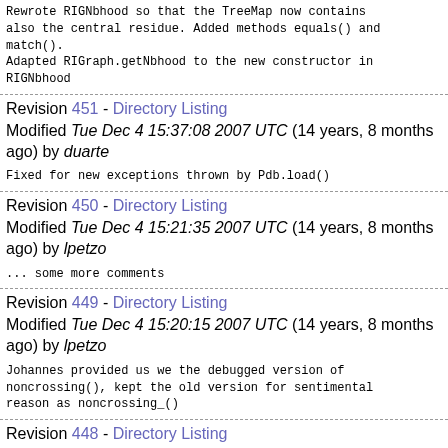Rewrote RIGNbhood so that the TreeMap now contains also the central residue. Added methods equals() and match().
Adapted RIGraph.getNbhood to the new constructor in RIGNbhood
Revision 451 - Directory Listing
Modified Tue Dec 4 15:37:08 2007 UTC (14 years, 8 months ago) by duarte
Fixed for new exceptions thrown by Pdb.load()
Revision 450 - Directory Listing
Modified Tue Dec 4 15:21:35 2007 UTC (14 years, 8 months ago) by lpetzo
... some more comments
Revision 449 - Directory Listing
Modified Tue Dec 4 15:20:15 2007 UTC (14 years, 8 months ago) by lpetzo
Johannes provided us we the debugged version of noncrossing(), kept the old version for sentimental reason as noncrossing_()
Revision 448 - Directory Listing
Modified Tue Dec 4 15:19:15 2007 UTC (14 years, 8 months ago)